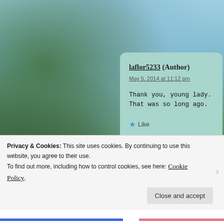[Figure (photo): Outdoor background photo showing trees with green foliage against a blue sky]
laflor5233 (Author)
May 5, 2014 at 11:12 pm
Thank you, young lady. That was so long ago.
★ Like
Privacy & Cookies: This site uses cookies. By continuing to use this website, you agree to their use.
To find out more, including how to control cookies, see here: Cookie Policy
Close and accept